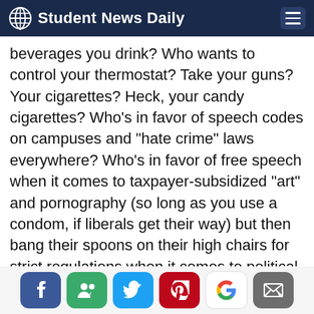Student News Daily
beverages you drink? Who wants to control your thermostat? Take your guns? Your cigarettes? Heck, your candy cigarettes? Who's in favor of speech codes on campuses and "hate crime" laws everywhere? Who's in favor of free speech when it comes to taxpayer-subsidized "art" and pornography (so long as you use a condom, if liberals get their way) but then bang their spoons on their high chairs for strict regulations when it comes to political speech? Who loves meddling, finger-wagging billionaires like Michael Bloomberg when they use state power and taxpayer money to herd, bully, and nudge people
[social share buttons: Facebook, Friends, Twitter, Pinterest, Google, Email]